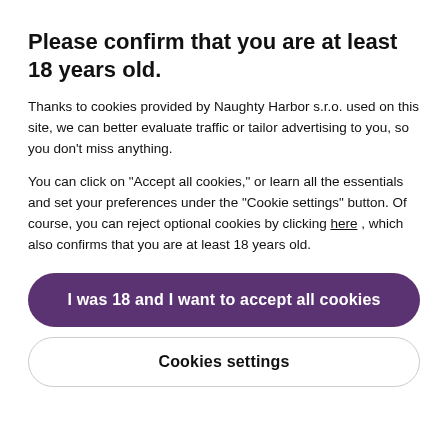Please confirm that you are at least 18 years old.
Thanks to cookies provided by Naughty Harbor s.r.o. used on this site, we can better evaluate traffic or tailor advertising to you, so you don't miss anything.
You can click on "Accept all cookies," or learn all the essentials and set your preferences under the "Cookie settings" button. Of course, you can reject optional cookies by clicking here , which also confirms that you are at least 18 years old.
I was 18 and I want to accept all cookies
Cookies settings